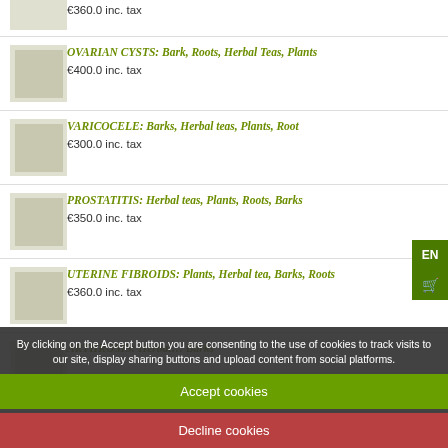€360.0 inc. tax (partial item at top)
OVARIAN CYSTS: Bark, Roots, Herbal Teas, Plants — €400.0 inc. tax
VARICOCELE: Barks, Herbal teas, Plants, Root — €300.0 inc. tax
PROSTATITIS: Herbal teas, Plants, Roots, Barks — €350.0 inc. tax
UTERINE FIBROIDS: Plants, Herbal tea, Barks, Roots — €360.0 inc. tax
ARTHROSIS: Herbal... Barks (partial)
By clicking on the Accept button you are consenting to the use of cookies to track visits to our site, display sharing buttons and upload content from social platforms.
Accept cookies
Decline cookies